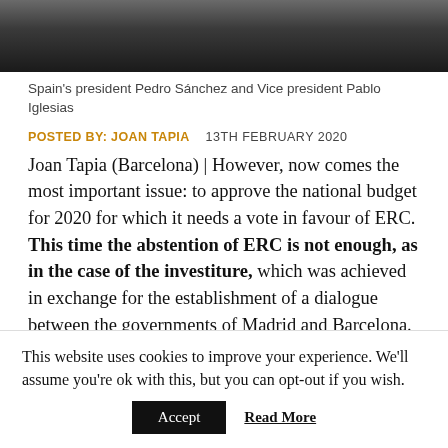[Figure (photo): Photo of Spain's president Pedro Sánchez and Vice president Pablo Iglesias, partially cropped at top]
Spain's president Pedro Sánchez and Vice president Pablo Iglesias
POSTED BY: JOAN TAPIA   13TH FEBRUARY 2020
Joan Tapia (Barcelona) | However, now comes the most important issue: to approve the national budget for 2020 for which it needs a vote in favour of ERC. This time the abstention of ERC is not enough, as in the case of the investiture, which was achieved in exchange for the establishment of a dialogue between the governments of Madrid and Barcelona.
This website uses cookies to improve your experience. We'll assume you're ok with this, but you can opt-out if you wish.